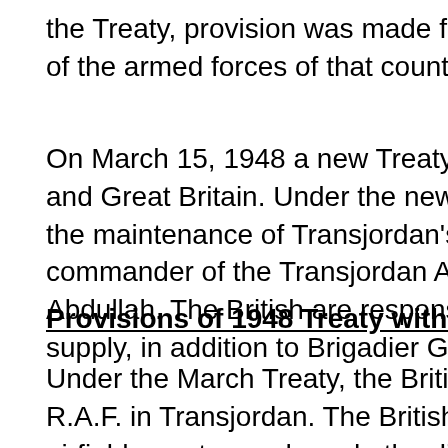the Treaty, provision was made for British bases in Transjo of the armed forces of that country by British military perso
On March 15, 1948 a new Treaty of Alliance was signed be and Great Britain. Under the new Treaty, Britain continues the maintenance of Transjordan's armed forces. Brigadier commander of the Transjordan Arab Legion, retains his pos Abdullah. The British are responsible as well for equipping supply, in addition to Brigadier Glubb, more than 40 British
Provisions of 1948 Treaty with Transjordan
Under the March Treaty, the British receive the right to mai R.A.F. in Transjordan. The British finance the maintenance airfields, ports, roads and other lines of communication. Th train Transjordan Forces in the United Kingdom or in any B Transjordan joint training operations are to be maintained w